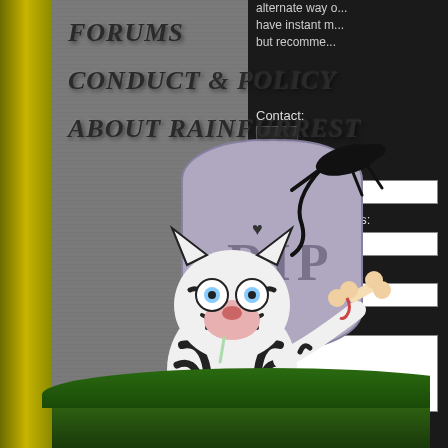[Figure (illustration): Left panel showing a stone-textured gray background with yellow-green book-spine bar on the left. Navigation text headings carved into stone style: FORUMS, CONDUCT & POLICY, ABOUT RAINFURREST. In the center-lower area, a cartoon zombie tiger character holding a bone, sitting in front of a gravestone marked 'RIP' with a black lizard on top. Green grass at the bottom.]
FORUMS
CONDUCT & POLICY
ABOUT RAINFURREST
alternate way o... have instant m... but recomme...
Contact:
Your name:
Your email address:
Subject:
Your Message:
Other Ways